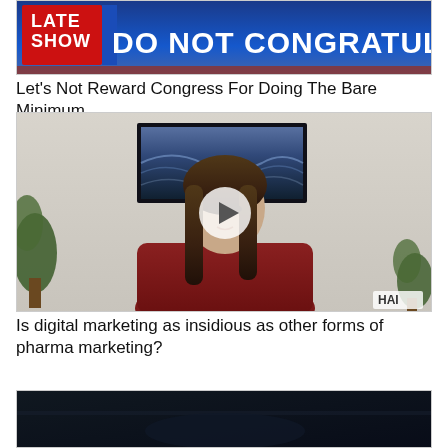[Figure (screenshot): Late Show TV screenshot with blue background and bold white text: DO NOT CONGRATULATE, with Late Show logo on left]
Let's Not Reward Congress For Doing The Bare Minimum
[Figure (screenshot): Video thumbnail showing a woman with long brown hair in a red shirt seated in front of a painting of ocean waves, with a play button overlay and HAI watermark]
Is digital marketing as insidious as other forms of pharma marketing?
[Figure (screenshot): Dark video thumbnail, partially visible at bottom of page]